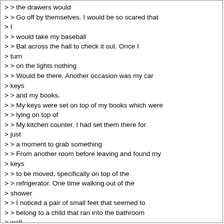> > the drawers would
> > Go off by themselves. I would be so scared that
> I
> > would take my baseball
> > Bat across the hall to check it out. Once I
> turn
> > on the lights nothing
> > Would be there. Another occasion was my car
> keys
> > and my books.
> > My keys were set on top of my books which were
> > lying on top of
> > My kitchen counter. I had set them there for
> just
> > a moment to grab something
> > From another room before leaving and found my
> keys
> > to be moved, specifically on top of the
> > refrigerator. One time walking out of the
> shower
> > I noticed a pair of small feet that seemed to
> > belong to a child that ran into the bathroom
> wall.
> > All I saw were grey feet. After that I
> literally
> > slept at a friends home for about 3 weeks. I
> have
> > sold the property since and have not had I
> > incident. I can say that the apartment I owned
> in
> > Oakton was haunted. I have not been back
> there